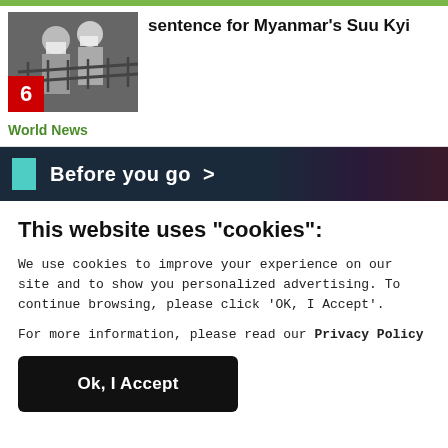[Figure (photo): Photo of two people wearing masks standing near railings]
sentence for Myanmar's Suu Kyi
World News
Before you go >
This website uses "cookies":
We use cookies to improve your experience on our site and to show you personalized advertising. To continue browsing, please click ‘OK, I Accept’.
For more information, please read our Privacy Policy
Ok, I Accept